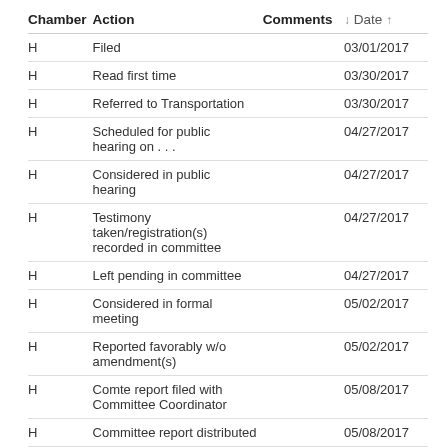| Chamber | Action | Comments | Date |
| --- | --- | --- | --- |
| H | Filed |  | 03/01/2017 |
| H | Read first time |  | 03/30/2017 |
| H | Referred to Transportation |  | 03/30/2017 |
| H | Scheduled for public hearing on . . . |  | 04/27/2017 |
| H | Considered in public hearing |  | 04/27/2017 |
| H | Testimony taken/registration(s) recorded in committee |  | 04/27/2017 |
| H | Left pending in committee |  | 04/27/2017 |
| H | Considered in formal meeting |  | 05/02/2017 |
| H | Reported favorably w/o amendment(s) |  | 05/02/2017 |
| H | Comte report filed with Committee Coordinator |  | 05/08/2017 |
| H | Committee report distributed |  | 05/08/2017 |
| H | Committee report sent to Calendars |  | 05/08/2017 |